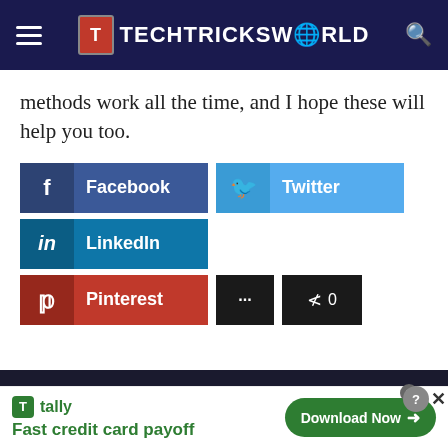TECHTRICKSWORLD
methods work all the time, and I hope these will help you too.
[Figure (screenshot): Social sharing buttons: Facebook, Twitter, LinkedIn, Pinterest, More (...), Share count (0)]
YOU MAY ALSO LIKE
[Figure (screenshot): Tally advertisement banner: Fast credit card payoff with Download Now button]